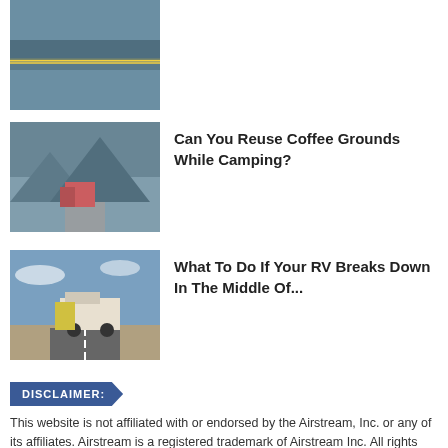[Figure (photo): Thumbnail photo of camping/truck on mountain road with foggy scenery]
Can You Reuse Coffee Grounds While Camping?
[Figure (photo): Thumbnail photo of RV/truck on a road with desert landscape]
What To Do If Your RV Breaks Down In The Middle Of...
DISCLAIMER: This website is not affiliated with or endorsed by the Airstream, Inc. or any of its affiliates. Airstream is a registered trademark of Airstream Inc. All rights reserved. Airstream trademark used under license to Social Knowledge LLC.
← Back To Home
View Full Site  Copyright © 2015 Social Knowledge, LLC
AN ELITE CAFEMEDIA TRAVEL PUBLISHER
[Figure (other): Advertisement banner: Save Up to 65% Leesburg Premium Outlets]